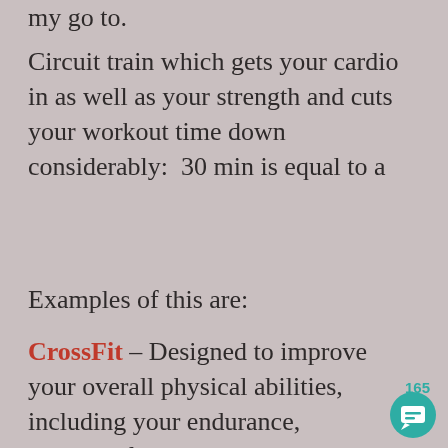my go to.
Circuit train which gets your cardio in as well as your strength and cuts your workout time down considerably:  30 min is equal to a
Examples of this are:
CrossFit – Designed to improve your overall physical abilities, including your endurance, strength, flexibility, speed, coordination, balance, and more. Combines many forms of exercise, high
165